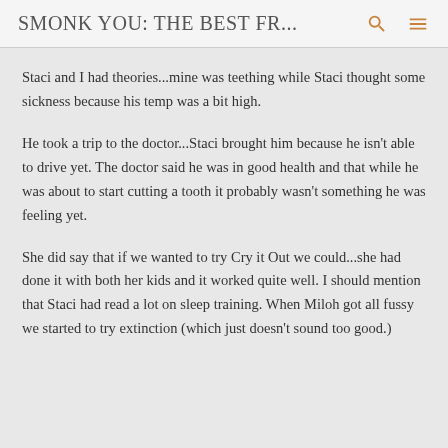SMONK YOU: THE BEST FR...
Staci and I had theories...mine was teething while Staci thought some sickness because his temp was a bit high.
He took a trip to the doctor...Staci brought him because he isn't able to drive yet. The doctor said he was in good health and that while he was about to start cutting a tooth it probably wasn't something he was feeling yet.
She did say that if we wanted to try Cry it Out we could...she had done it with both her kids and it worked quite well. I should mention that Staci had read a lot on sleep training. When Miloh got all fussy we started to try extinction (which just doesn't sound too good.)